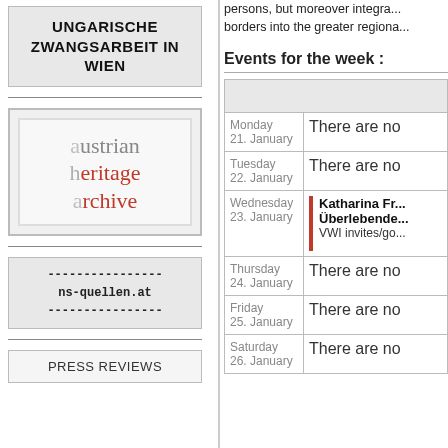UNGARISCHE ZWANGSARBEIT IN WIEN
[Figure (logo): Austrian Heritage Archive logo with stylized text: 'austrian heritage archive']
[Figure (logo): ns-quellen.at logo with dashed lines above and below the text]
PRESS REVIEWS
persons, but moreover integra... borders into the greater regiona...
Events for the week :
| Day | Event |
| --- | --- |
| Monday 21. January | There are no |
| Tuesday 22. January | There are no |
| Wednesday 23. January | Katharina Fr... Überlebende... VWI invites/go... |
| Thursday 24. January | There are no |
| Friday 25. January | There are no |
| Saturday 26. January | There are no |